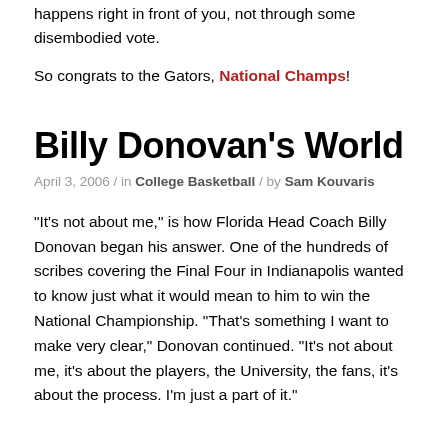happens right in front of you, not through some disembodied vote.
So congrats to the Gators, National Champs!
Billy Donovan's World
April 3, 2006 / in College Basketball / by Sam Kouvaris
“It’s not about me,” is how Florida Head Coach Billy Donovan began his answer. One of the hundreds of scribes covering the Final Four in Indianapolis wanted to know just what it would mean to him to win the National Championship. “That’s something I want to make very clear,” Donovan continued. “It’s not about me, it’s about the players, the University, the fans, it’s about the process. I’m just a part of it.”